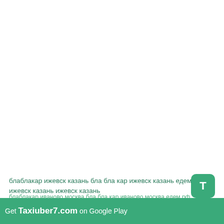блаблакар ижевск казань бла бла кар ижевск казань едем.рф ижевск казань ижевск казань
[Figure (logo): Green rounded square icon with white letter T]
блаблакар иваново москва бла бла кар иваново москва едем.рф иваново москва иваново москва
Get Taxiuber7.com on Google Play